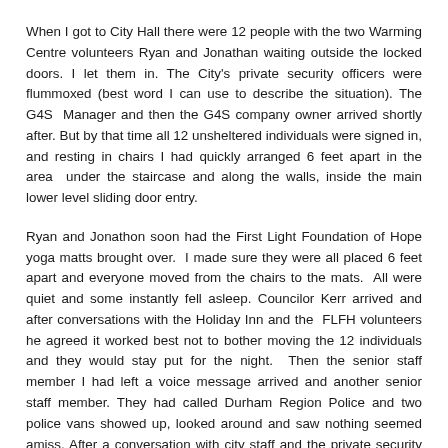When I got to City Hall there were 12 people with the two Warming Centre volunteers Ryan and Jonathan waiting outside the locked doors. I let them in. The City's private security officers were flummoxed (best word I can use to describe the situation). The G4S Manager and then the G4S company owner arrived shortly after. But by that time all 12 unsheltered individuals were signed in, and resting in chairs I had quickly arranged 6 feet apart in the area under the staircase and along the walls, inside the main lower level sliding door entry.
Ryan and Jonathon soon had the First Light Foundation of Hope yoga matts brought over. I made sure they were all placed 6 feet apart and everyone moved from the chairs to the mats. All were quiet and some instantly fell asleep. Councilor Kerr arrived and after conversations with the Holiday Inn and the FLFH volunteers he agreed it worked best not to bother moving the 12 individuals and they would stay put for the night. Then the senior staff member I had left a voice message arrived and another senior staff member. They had called Durham Region Police and two police vans showed up, looked around and saw nothing seemed amiss. After a conversation with city staff and the private security DRP left.